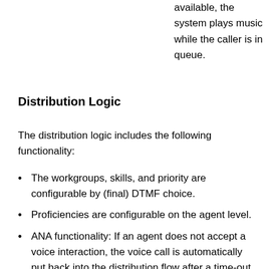available, the system plays music while the caller is in queue.
Distribution Logic
The distribution logic includes the following functionality:
The workgroups, skills, and priority are configurable by (final) DTMF choice.
Proficiencies are configurable on the agent level.
ANA functionality: If an agent does not accept a voice interaction, the voice call is automatically put back into the distribution flow after a time-out. The agent who did not accept the call is set to agent not answering.